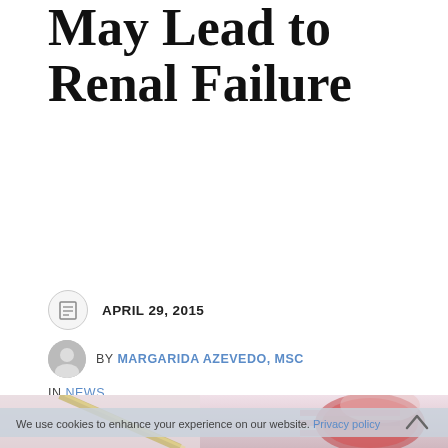Reproductive Age May Lead to Renal Failure
APRIL 29, 2015
BY MARGARIDA AZEVEDO, MSC
IN NEWS.
[Figure (photo): Laboratory petri dishes and pipette with pink/red samples, gloved hand holding pipette, scientific lab setting]
We use cookies to enhance your experience on our website. Privacy policy